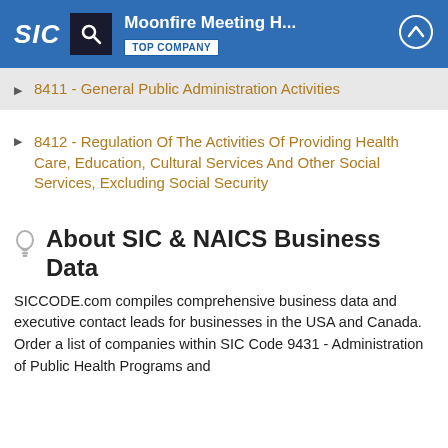SIC | Moonfire Meeting H... | TOP COMPANY
8411 - General Public Administration Activities
8412 - Regulation Of The Activities Of Providing Health Care, Education, Cultural Services And Other Social Services, Excluding Social Security
About SIC & NAICS Business Data
SICCODE.com compiles comprehensive business data and executive contact leads for businesses in the USA and Canada. Order a list of companies within SIC Code 9431 - Administration of Public Health Programs and